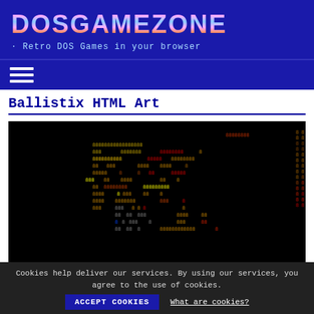DOSGAMEZONE — Retro DOS Games in your browser
Ballistix HTML Art
[Figure (screenshot): Ballistix HTML art displayed as colored ASCII characters (digit '8') on a black background, forming a game scene with various colored '8' characters in yellow, orange, red, white, and blue arranged in a pattern reminiscent of pixel art]
Cookies help deliver our services. By using our services, you agree to the use of cookies.
ACCEPT COOKIES    What are cookies?